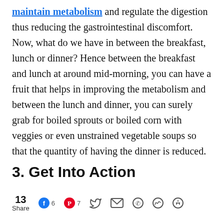maintain metabolism and regulate the digestion thus reducing the gastrointestinal discomfort. Now, what do we have in between the breakfast, lunch or dinner? Hence between the breakfast and lunch at around mid-morning, you can have a fruit that helps in improving the metabolism and between the lunch and dinner, you can surely grab for boiled sprouts or boiled corn with veggies or even unstrained vegetable soups so that the quantity of having the dinner is reduced.
3. Get Into Action
13 Share  6  7